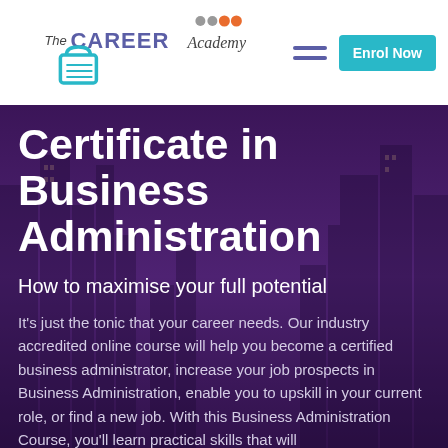The Career Academy — Enrol Now
Certificate in Business Administration
How to maximise your full potential
It's just the tonic that your career needs. Our industry accredited online course will help you become a certified business administrator, increase your job prospects in Business Administration, enable you to upskill in your current role, or find a new job. With this Business Administration Course, you'll learn practical skills that will...